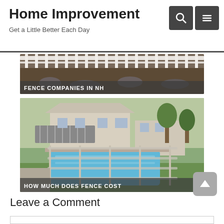Home Improvement
Get a Little Better Each Day
[Figure (photo): Fence with dark earth background. Caption overlay reads FENCE COMPANIES IN NH]
FENCE COMPANIES IN NH
[Figure (photo): Pool area with glass fence, house with awning in background. Caption overlay reads HOW MUCH DOES FENCE COST]
HOW MUCH DOES FENCE COST
Leave a Comment